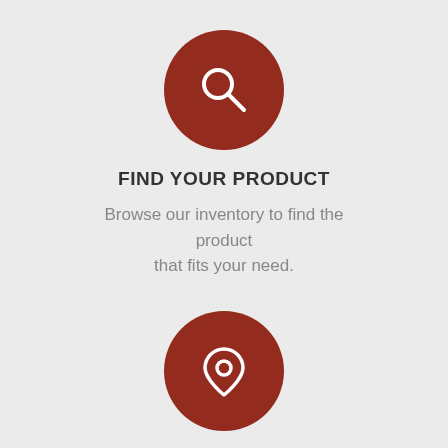[Figure (illustration): Dark red circle with a white magnifying glass icon inside]
FIND YOUR PRODUCT
Browse our inventory to find the product that fits your need.
[Figure (illustration): Dark red circle with a white map pin / location marker icon inside]
LOCATE A DEALER